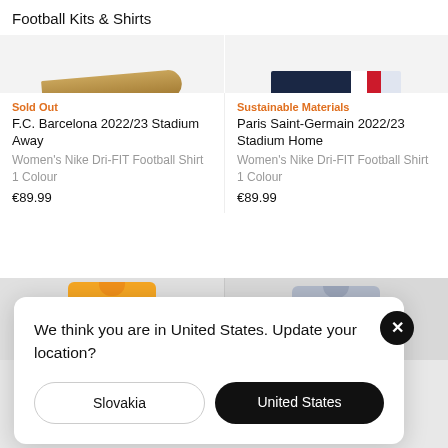Football Kits & Shirts
[Figure (photo): F.C. Barcelona away shirt partial image (wooden/bat-like accent)]
[Figure (photo): Paris Saint-Germain home shirt partial image (navy, white, red sleeve)]
Sold Out
F.C. Barcelona 2022/23 Stadium Away
Women's Nike Dri-FIT Football Shirt
1 Colour
€89.99
Sustainable Materials
Paris Saint-Germain 2022/23 Stadium Home
Women's Nike Dri-FIT Football Shirt
1 Colour
€89.99
[Figure (photo): Orange football shirt (next product row, left)]
[Figure (photo): Grey football shirt (next product row, right)]
We think you are in United States. Update your location?
Slovakia
United States